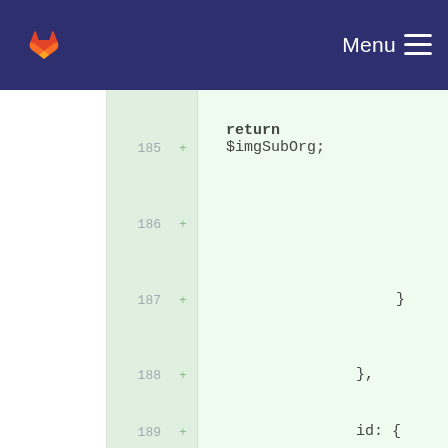GitLab navigation bar with Menu
[Figure (screenshot): GitLab code diff view showing added lines 185-189 with code: return $imgSubOrg; } }, id: {]